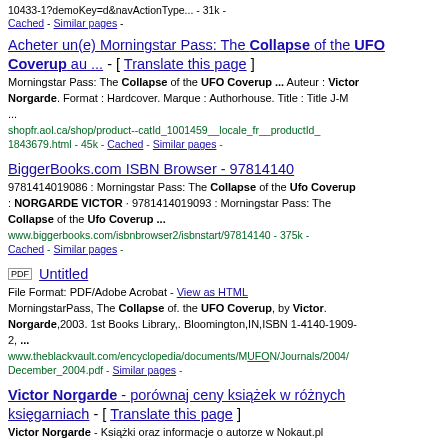10433-1?demoKey=d&navActionType... - 31k -
Cached - Similar pages -
Acheter un(e) Morningstar Pass: The Collapse of the UFO Coverup au ... - [ Translate this page ] Morningstar Pass: The Collapse of the UFO Coverup ... Auteur : Victor Norgarde. Format : Hardcover. Marque : Authorhouse. Title : Title J-M ... shopfr.aol.ca/shop/product--catId_1001459__locale_fr__productId_1843679.html - 45k - Cached - Similar pages -
BiggerBooks.com ISBN Browser - 97814140 9781414019086 : Morningstar Pass: The Collapse of the Ufo Coverup : NORGARDE VICTOR · 9781414019093 : Morningstar Pass: The Collapse of the Ufo Coverup ... www.biggerbooks.com/isbnbrowser2/isbnstart/97814140 - 375k - Cached - Similar pages -
[PDF] Untitled File Format: PDF/Adobe Acrobat - View as HTML MorningstarPass, The Collapse of. the UFO Coverup, by Victor. Norgarde,2003. 1st Books Library,. Bloomington,IN,ISBN 1-4140-1909-2, ... www.theblackvault.com/encyclopedia/documents/MUFON/Journals/2004/December_2004.pdf - Similar pages -
Victor Norgarde - porównaj ceny książek w różnych księgarniach - [ Translate this page ] Victor Norgarde - Książki oraz informacje o autorze w Nokaut.pl